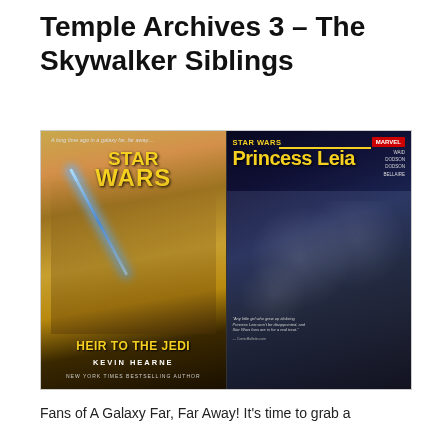Temple Archives 3 – The Skywalker Siblings
[Figure (photo): Two book/comic covers side by side: left is 'Star Wars: Heir to the Jedi' by Kevin Hearne showing Luke Skywalker with a lightsaber; right is 'Star Wars: Princess Leia' Marvel comic showing Princess Leia with a blaster in a starry setting.]
Fans of A Galaxy Far, Far Away! It's time to grab a